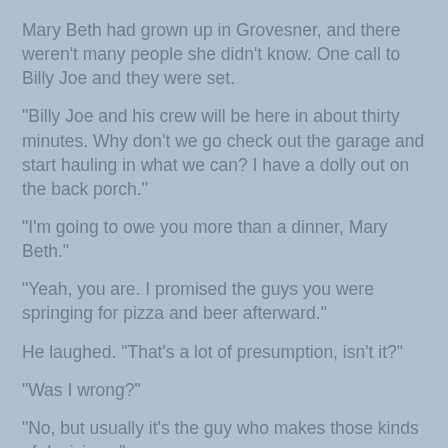Mary Beth had grown up in Grovesner, and there weren't many people she didn't know. One call to Billy Joe and they were set.
"Billy Joe and his crew will be here in about thirty minutes. Why don't we go check out the garage and start hauling in what we can?  I have a dolly out on the back porch."
"I'm going to owe you more than a dinner, Mary Beth."
"Yeah, you are.  I promised the guys you were springing for pizza and beer afterward."
He laughed.  "That's a lot of presumption, isn't it?"
"Was I wrong?"
"No, but usually it's the guy who makes those kinds of decisions."
"Maybe in your world," she answered with a giggle.